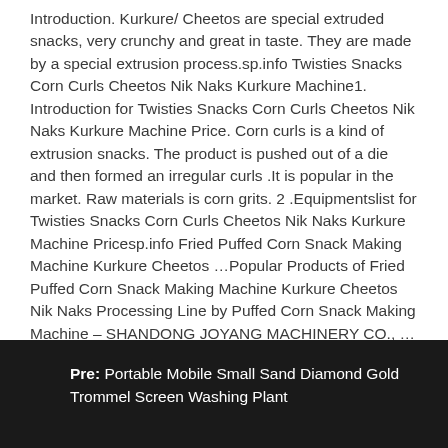Introduction. Kurkure/ Cheetos are special extruded snacks, very crunchy and great in taste. They are made by a special extrusion process.sp.info Twisties Snacks Corn Curls Cheetos Nik Naks Kurkure Machine1. Introduction for Twisties Snacks Corn Curls Cheetos Nik Naks Kurkure Machine Price. Corn curls is a kind of extrusion snacks. The product is pushed out of a die and then formed an irregular curls .It is popular in the market. Raw materials is corn grits. 2 .Equipmentslist for Twisties Snacks Corn Curls Cheetos Nik Naks Kurkure Machine Pricesp.info Fried Puffed Corn Snack Making Machine Kurkure Cheetos …Popular Products of Fried Puffed Corn Snack Making Machine Kurkure Cheetos Nik Naks Processing Line by Puffed Corn Snack Making Machine – SHANDONG JOYANG MACHINERY CO., …
Pre: Portable Mobile Small Sand Diamond Gold Trommel Screen Washing Plant